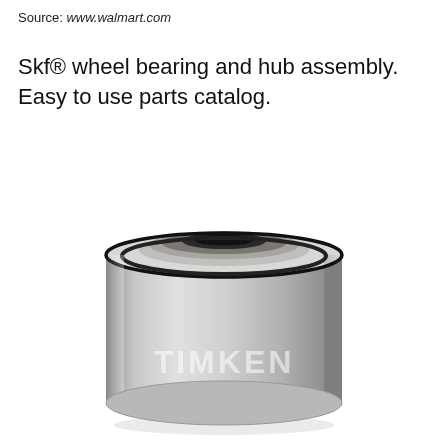Source: www.walmart.com
Skf® wheel bearing and hub assembly. Easy to use parts catalog.
[Figure (photo): A Timken wheel bearing and hub assembly — a cylindrical metal bearing unit with a polished steel outer ring, a recessed inner cup with a dark rubber seal ring visible, and the TIMKEN brand name embossed on the lower outer surface.]